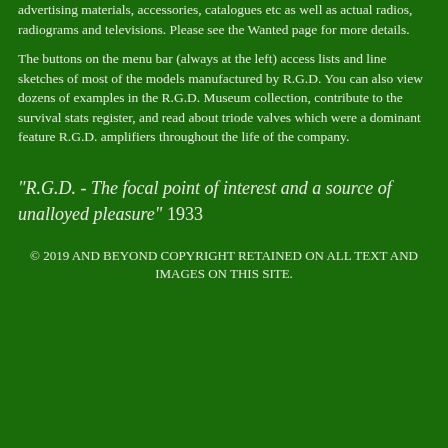advertising materials, accessories, catalogues etc as well as actual radios, radiograms and televisions. Please see the Wanted page for more details.
The buttons on the menu bar (always at the left) access lists and line sketches of most of the models manufactured by R.G.D. You can also view dozens of examples in the R.G.D. Museum collection, contribute to the survival stats register, and read about triode valves which were a dominant feature R.G.D. amplifiers throughout the life of the company.
"R.G.D. - The focal point of interest and a source of unalloyed pleasure" 1933
© 2019 AND BEYOND COPYRIGHT RETAINED ON ALL TEXT AND IMAGES ON THIS SITE.